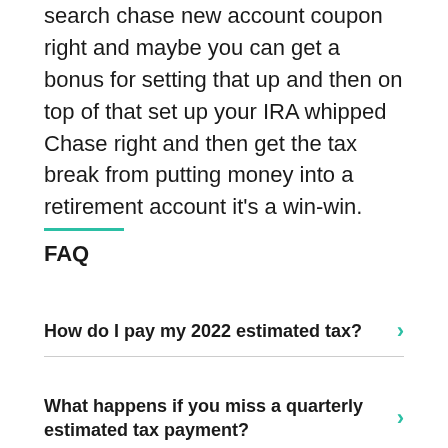search chase new account coupon right and maybe you can get a bonus for setting that up and then on top of that set up your IRA whipped Chase right and then get the tax break from putting money into a retirement account it's a win-win.
FAQ
How do I pay my 2022 estimated tax?
What happens if you miss a quarterly estimated tax payment?